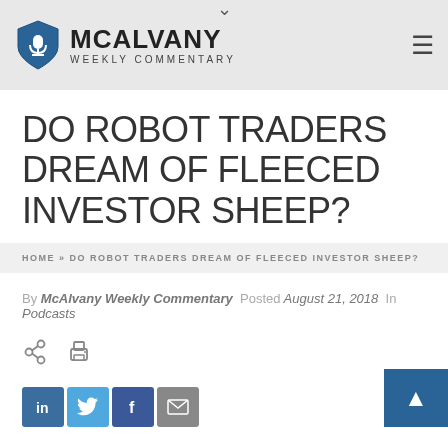McAlvany Weekly Commentary
DO ROBOT TRADERS DREAM OF FLEECED INVESTOR SHEEP?
HOME » DO ROBOT TRADERS DREAM OF FLEECED INVESTOR SHEEP?
By McAlvany Weekly Commentary  Posted August 21, 2018  In Podcasts